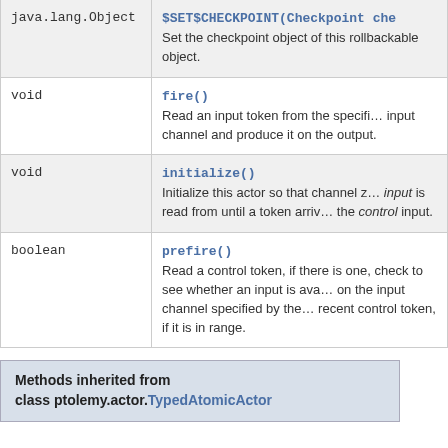| Type | Method and Description |
| --- | --- |
| java.lang.Object | $SET$CHECKPOINT(Checkpoint che…
Set the checkpoint object of this rollbackable object. |
| void | fire()
Read an input token from the specifi… input channel and produce it on the output. |
| void | initialize()
Initialize this actor so that channel z… input is read from until a token arriv… the control input. |
| boolean | prefire()
Read a control token, if there is one, check to see whether an input is ava… on the input channel specified by the… recent control token, if it is in range. |
Methods inherited from class ptolemy.actor.TypedAtomicActor